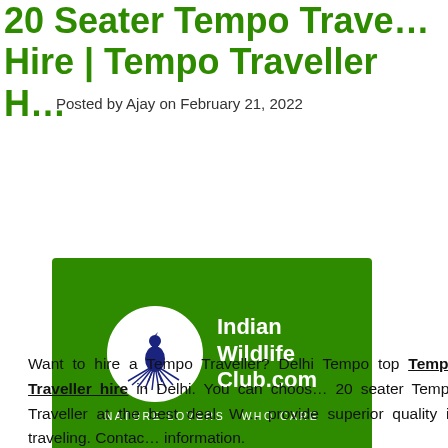20 Seater Tempo Traveller Hire | Tempo Traveller H…
Posted by Ajay on February 21, 2022
[Figure (logo): Indian Wildlife Club.com logo — green background, white peacock in circle, text 'Indian Wildlife Club.com' and tagline 'NATURE LOVERS WHO CARE']
Want to hire a Tempo Traveller? Delhi Tempo top Tempo Traveller hire in Delhi. You can choose 20 seater Tempo Traveller at the best deal. We provide superior quality in traveling. Contact information.